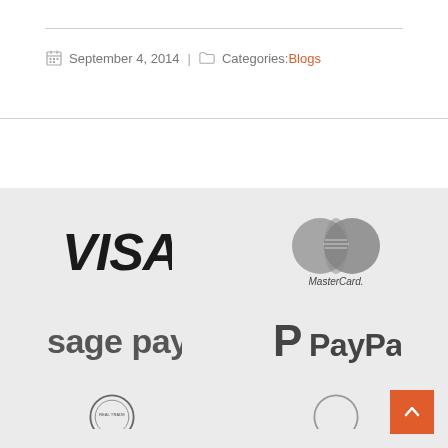September 4, 2014 | Categories: Blogs
[Figure (logo): VISA logo in dark gray/black italic text]
[Figure (logo): MasterCard logo with overlapping gray circles and MasterCard text]
[Figure (logo): sage pay logo in gray lowercase text]
[Figure (logo): PayPal logo with P icon and PayPal text in gray]
[Figure (logo): Partial circular badge logo at bottom left (partially visible)]
[Figure (logo): Partial logo at bottom right (partially visible)]